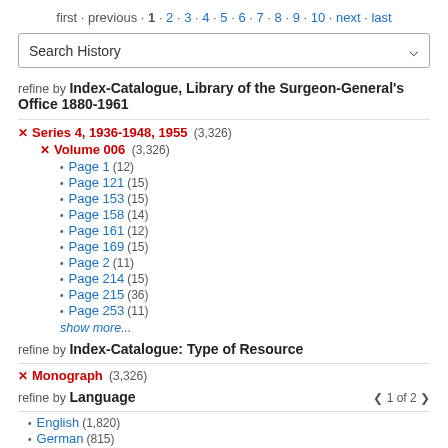first · previous · 1 · 2 · 3 · 4 · 5 · 6 · 7 · 8 · 9 · 10 · next · last
Search History
refine by Index-Catalogue, Library of the Surgeon-General's Office 1880-1961
× Series 4, 1936-1948, 1955 (3,326)
× Volume 006 (3,326)
Page 1 (12)
Page 121 (15)
Page 153 (15)
Page 158 (14)
Page 161 (12)
Page 169 (15)
Page 2 (11)
Page 214 (15)
Page 215 (36)
Page 253 (11)
show more...
refine by Index-Catalogue: Type of Resource
× Monograph (3,326)
refine by Language  ❨ 1 of 2 ❩
English (1,820)
German (815)